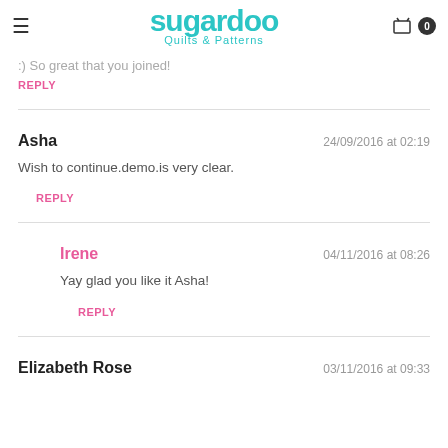sugardoo Quilts & Patterns
:) So great that you joined!
REPLY
Asha  24/09/2016 at 02:19
Wish to continue.demo.is very clear.
REPLY
Irene  04/11/2016 at 08:26
Yay glad you like it Asha!
REPLY
Elizabeth Rose  03/11/2016 at 09:33